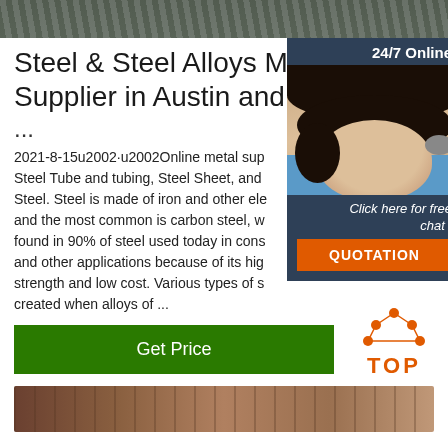[Figure (photo): Top banner image, dark metallic/steel texture]
Steel & Steel Alloys Metals Supplier in Austin and San ...
...
2021-8-15u2002·u2002Online metal sup Steel Tube and tubing, Steel Sheet, and Steel. Steel is made of iron and other ele and the most common is carbon steel, w found in 90% of steel used today in cons and other applications because of its hig strength and low cost. Various types of s created when alloys of ...
[Figure (photo): Chat widget with woman customer service agent wearing headset, 24/7 Online banner, Click here for free chat, QUOTATION button]
Get Price
[Figure (logo): TOP logo with orange dots arranged in triangle/house shape above the text TOP in orange]
[Figure (photo): Bottom banner image, steel/metal warehouse or industrial scene]